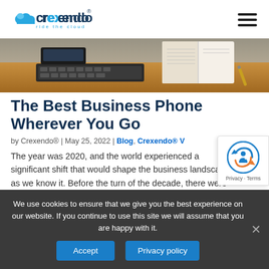[Figure (logo): Crexendo logo with cloud icon and tagline 'ride the cloud']
[Figure (photo): Office desk scene with phone, keyboard, notebook and pen]
The Best Business Phone Wherever You Go
by Crexendo® | May 25, 2022 | Blog, Crexendo® V
The year was 2020, and the world experienced a significant shift that would shape the business landscape as we know it. Before the turn of the decade, there were indicators that business needs
We use cookies to ensure that we give you the best experience on our website. If you continue to use this site we will assume that you are happy with it.